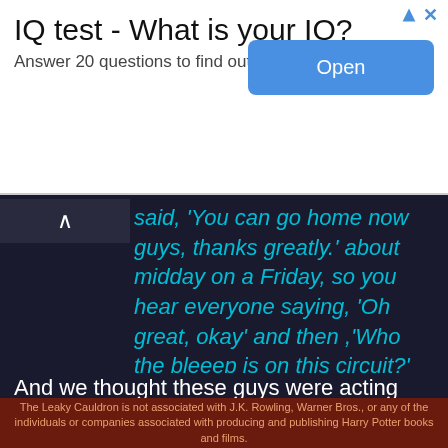[Figure (other): Advertisement banner: 'IQ test - What is your IQ? Answer 20 questions to find out test-iq.org' with a blue 'Open' button]
said, 'You can go home now guys, thanks greatly.' about midday on a Friday, so you hear everyone saying, 'Oh great, okay' and then ,'Who the bleeep is on this circuit?' and we were pretty sure if we said the Weasley's did it, he wouldn't know what we were going on about."
And we thought these guys were acting when they played Fred and George!
The next question was about their careers and what they would like to do now if they hadn't chosen acting.
Oliver said that he loved doing things like this; meeting new people, traveling to different places, and eating really good barbecue, which happens to be a Kansas City
The Leaky Cauldron is not associated with J.K. Rowling, Warner Bros., or any of the individuals or companies associated with producing and publishing Harry Potter books and films.